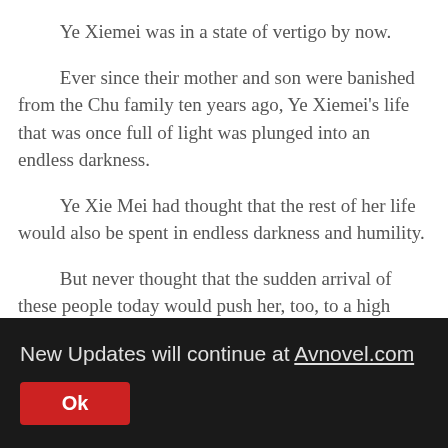the crowd did not leave.
Ye Xiemei was in a state of vertigo by now.
Ever since their mother and son were banished from the Chu family ten years ago, Ye Xiemei's life that was once full of light was plunged into an endless darkness.
Ye Xie Mei had thought that the rest of her life would also be spent in endless darkness and humility.
But never thought that the sudden arrival of these people today would push her, too, to a high place, to be noticed and enjoy the scenery.
She looked at the tens of millions of dollars worth of jade
New Updates will continue at Avnovel.com
Ok